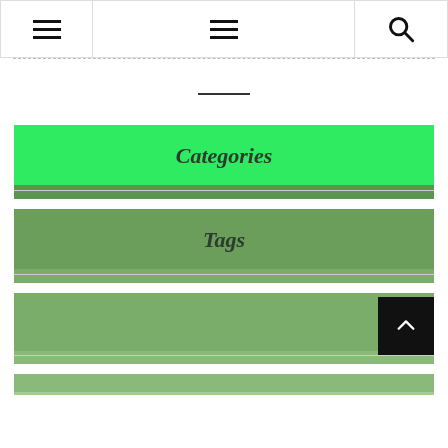Navigation bar with hamburger menus and search icon
Categories
Tags